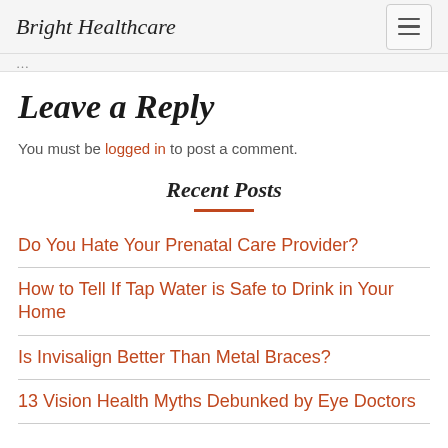Bright Healthcare
Leave a Reply
You must be logged in to post a comment.
Recent Posts
Do You Hate Your Prenatal Care Provider?
How to Tell If Tap Water is Safe to Drink in Your Home
Is Invisalign Better Than Metal Braces?
13 Vision Health Myths Debunked by Eye Doctors